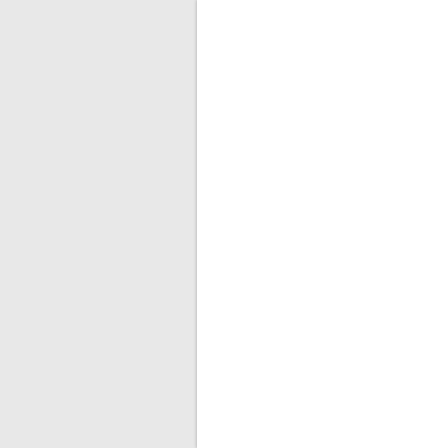and simple grid to note how well you can focus at each